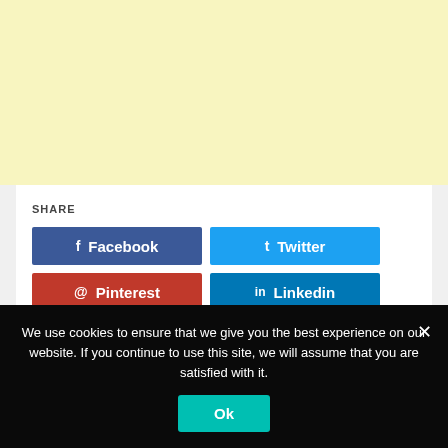[Figure (other): Yellow/cream colored banner area at the top of the page]
SHARE
[Figure (infographic): Social share buttons: Facebook (blue), Twitter (light blue), Pinterest (red), Linkedin (dark blue)]
We use cookies to ensure that we give you the best experience on our website. If you continue to use this site, we will assume that you are satisfied with it.
Ok